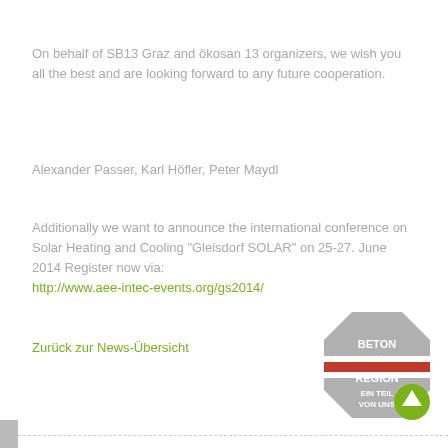On behalf of SB13 Graz and ökosan 13 organizers, we wish you all the best and are looking forward to any future cooperation.
Alexander Passer, Karl Höfler, Peter Maydl
Additionally we want to announce the international conference on Solar Heating and Cooling "Gleisdorf SOLAR" on 25-27. June 2014 Register now via: http://www.aee-intec-events.org/gs2014/
Zurück zur News-Übersicht
[Figure (logo): Beton aus der Region - Ein Teil von uns diamond-shaped logo with Austrian flag stripe and a green upward arrow circle button]